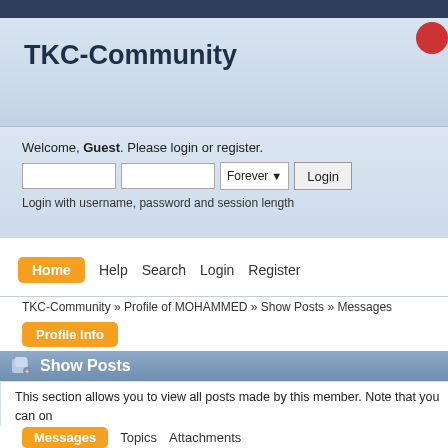TKC-Community
Welcome, Guest. Please login or register.
Login with username, password and session length
Home
Help
Search
Login
Register
TKC-Community » Profile of MOHAMMED » Show Posts » Messages
Profile Info
Show Posts
This section allows you to view all posts made by this member. Note that you can only see posts made in areas you currently have access to.
Messages
Topics
Attachments
Messages - MOHAMMED